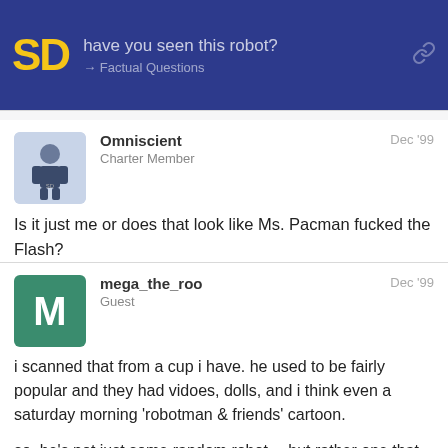have you seen this robot? — Factual Questions
Omniscient
Charter Member
Dec '99
Is it just me or does that look like Ms. Pacman fucked the Flash?
mega_the_roo
Guest
Dec '99
i scanned that from a cup i have. he used to be fairly popular and they had vidoes, dolls, and i think even a saturday morning 'robotman & friends' cartoon.

so, he's not just some random robot… but rather one that was just forgotten.